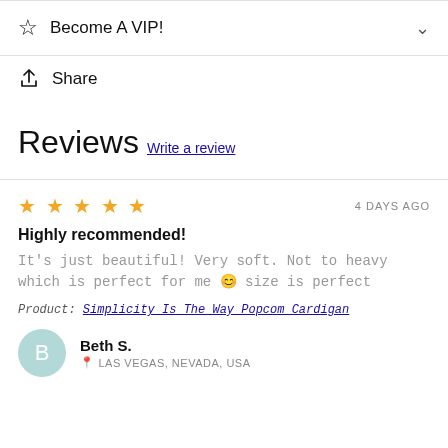Become A VIP!
Share
Reviews Write a review
★★★★★  4 DAYS AGO
Highly recommended!
It's just beautiful! Very soft. Not to heavy which is perfect for me 🙂 size is perfect
Product: Simplicity Is The Way Popcom Cardigan
Beth S.
LAS VEGAS, NEVADA, USA